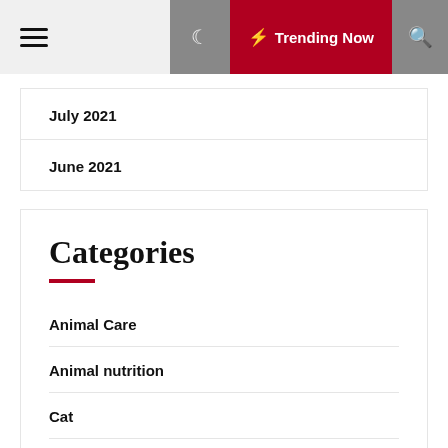☰  🌙  ⚡ Trending Now  🔍
July 2021
June 2021
Categories
Animal Care
Animal nutrition
Cat
Dog